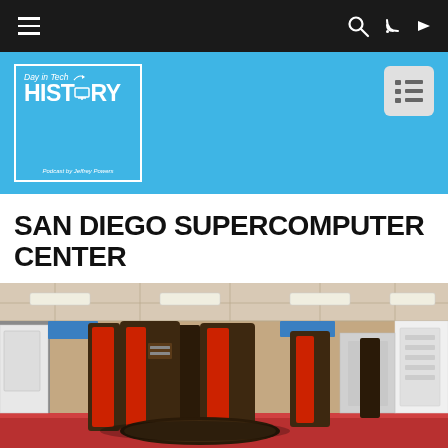Navigation bar with hamburger menu, search, and RSS icons
[Figure (logo): Day in Tech History podcast logo on blue background with white border. Shows 'Day in Tech' in italic text, 'HISTORY' in large bold white letters with a monitor icon replacing the letter O, and 'Podcast by Jeffrey Powers' subtitle at bottom.]
SAN DIEGO SUPERCOMPUTER CENTER
[Figure (photo): Interior photograph of the San Diego Supercomputer Center showing large cylindrical supercomputer hardware units with red and dark brown/black panels on a red floor, surrounded by server racks and equipment in a large data center room with a dropped ceiling.]